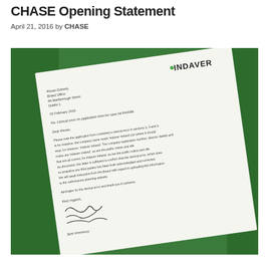CHASE Opening Statement
April 21, 2016 by CHASE
[Figure (photo): A photograph of a letter on a white page on a green background. The letter is from INDAVER and is dated 03 February 2016, addressed to Kieran Doherty, Board Office, 84 Marlborough Street, Dublin 1. The subject line reads 'Clerical error on application form for case 04.PA0046'. The letter discusses a clerical error in the application form noting the company name reads 'Indaver Ireland Ltd' where it should read 'Indaver Ireland'. It is signed by Jane Hennesy and apologizes for the clerical error. The INDAVER logo appears in the top right corner.]